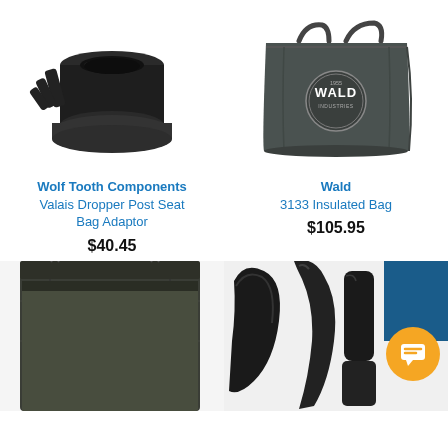[Figure (photo): Black Wolf Tooth Components Valais Dropper Post Seat Bag Adaptor, a cylindrical black plastic adapter]
[Figure (photo): Dark gray Wald 3133 Insulated Bag, a large tote bag with WALD logo and handles]
Wolf Tooth Components
Valais Dropper Post Seat Bag Adaptor
Wald
3133 Insulated Bag
$40.45
$105.95
[Figure (photo): Dark olive/black tote bag, partially cropped at bottom of page]
[Figure (photo): Black bicycle components/parts with an orange chat bubble icon overlay, partially cropped at bottom of page]